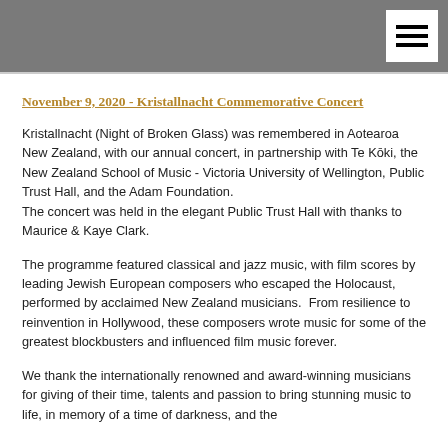November 9, 2020 -  Kristallnacht Commemorative Concert
Kristallnacht (Night of Broken Glass) was remembered in Aotearoa New Zealand, with our annual concert, in partnership with Te Kōki, the New Zealand School of Music - Victoria University of Wellington, Public Trust Hall, and the Adam Foundation.
The concert was held in the elegant Public Trust Hall with thanks to Maurice & Kaye Clark.
The programme featured classical and jazz music, with film scores by leading Jewish European composers who escaped the Holocaust, performed by acclaimed New Zealand musicians.  From resilience to reinvention in Hollywood, these composers wrote music for some of the greatest blockbusters and influenced film music forever.
We thank the internationally renowned and award-winning musicians for giving of their time, talents and passion to bring stunning music to life, in memory of a time of darkness, and the